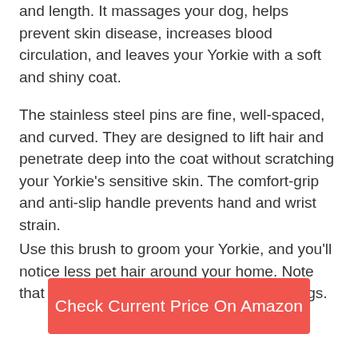and length. It massages your dog, helps prevent skin disease, increases blood circulation, and leaves your Yorkie with a soft and shiny coat.
The stainless steel pins are fine, well-spaced, and curved. They are designed to lift hair and penetrate deep into the coat without scratching your Yorkie's sensitive skin. The comfort-grip and anti-slip handle prevents hand and wrist strain.
Use this brush to groom your Yorkie, and you'll notice less pet hair around your home. Note that this product is not for non-shedding dogs.
Check Current Price On Amazon